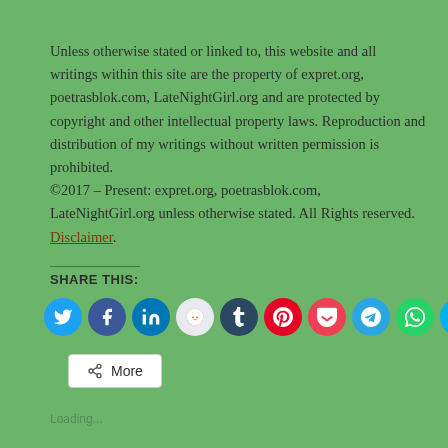Unless otherwise stated or linked to, this website and all writings within this site are the property of expret.org, poetrasblok.com, LateNightGirl.org and are protected by copyright and other intellectual property laws. Reproduction and distribution of my writings without written permission is prohibited.
©2017 – Present: expret.org, poetrasblok.com, LateNightGirl.org unless otherwise stated. All Rights reserved. Disclaimer.
Share This:
[Figure (infographic): Row of social media share icon buttons: Twitter (blue), Facebook (dark blue), LinkedIn (blue), Reddit (light gray), Tumblr (dark navy), Pinterest (red), Pocket (pink-red), Telegram (light blue), WhatsApp (green), Skype (sky blue). Below them a 'More' button with a share icon.]
Loading...